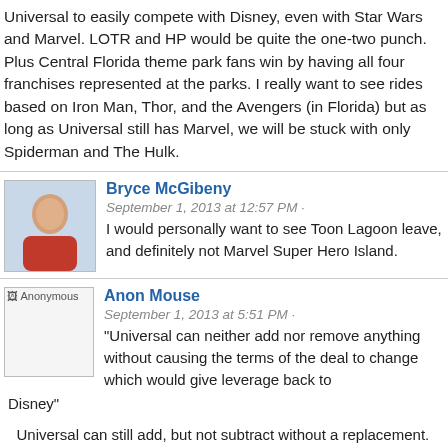Universal to easily compete with Disney, even with Star Wars and Marvel. LOTR and HP would be quite the one-two punch. Plus Central Florida theme park fans win by having all four franchises represented at the parks. I really want to see rides based on Iron Man, Thor, and the Avengers (in Florida) but as long as Universal still has Marvel, we will be stuck with only Spiderman and The Hulk.
Bryce McGibeny
September 1, 2013 at 12:57 PM · I would personally want to see Toon Lagoon leave, and definitely not Marvel Super Hero Island.
Anon Mouse
September 1, 2013 at 5:51 PM · "Universal can neither add nor remove anything without causing the terms of the deal to change which would give leverage back to Disney"
Universal can still add, but not subtract without a replacement. For